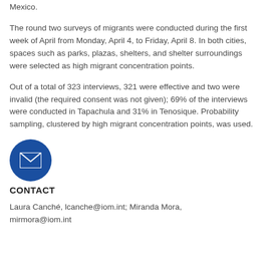Mexico.
The round two surveys of migrants were conducted during the first week of April from Monday, April 4, to Friday, April 8. In both cities, spaces such as parks, plazas, shelters, and shelter surroundings were selected as high migrant concentration points.
Out of a total of 323 interviews, 321 were effective and two were invalid (the required consent was not given); 69% of the interviews were conducted in Tapachula and 31% in Tenosique. Probability sampling, clustered by high migrant concentration points, was used.
[Figure (illustration): Blue circle icon with white envelope/mail symbol]
CONTACT
Laura Canché, lcanche@iom.int; Miranda Mora, mirmora@iom.int